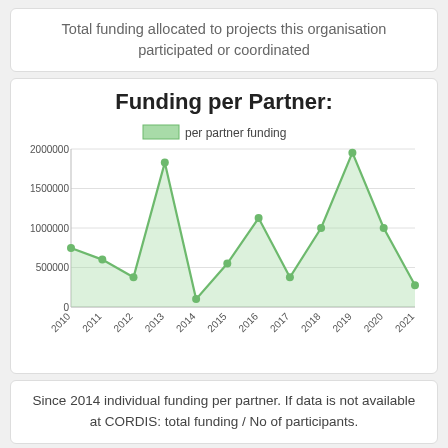Total funding allocated to projects this organisation participated or coordinated
Funding per Partner:
[Figure (line-chart): Funding per Partner:]
Since 2014 individual funding per partner. If data is not available at CORDIS: total funding / No of participants.